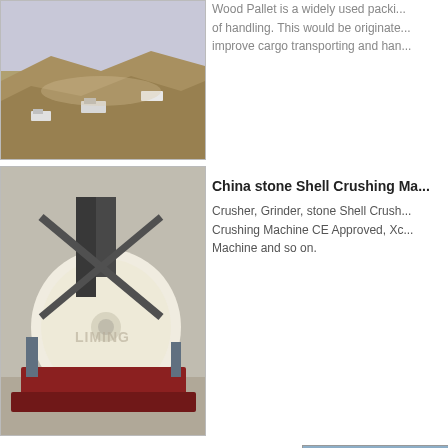[Figure (photo): Aerial view of a mining/quarry operation with trucks and excavated terrain]
[Figure (photo): Industrial crushing machine (mill/grinder) in a warehouse, branded LIMING]
Wood Pallet is a widely used packing of handling. This would be originated improve cargo transporting and han...
China stone Shell Crushing Ma...
Crusher, Grinder, stone Shell Crushing Machine CE Approved, Xc... Machine and so on.
Last Article: Crushing Fee Batubara Kaliman...
Related articles:
cost of stone crushing machine
portable concrete crushing plant
iron ore crusher upgrade equipment
small aggregate crushers
Impact Crusher Wastes
detail for pew jaw crusher
[Figure (screenshot): Mini message contact widget with text area, email input, phone input, and Email Us / Send buttons]